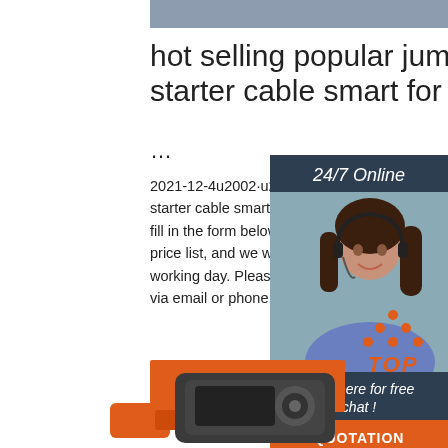[Figure (photo): Gray header bar at top of page]
hot selling popular jump starter cable smart for Inflate
...
2021-12-4u2002·u2002hot selling popular starter cable smart for Inflate the basketba fill in the form below, click submit, you will price list, and we will contact you within or working day. Please also feel free to conta via email or phone.
[Figure (photo): Customer service agent with headset, 24/7 Online chat panel with QUOTATION button]
Get Price
[Figure (logo): TOP icon with orange dots arranged as upward triangle above bold italic orange TOp text]
[Figure (photo): Partial view of jump starter cable product at bottom of page]